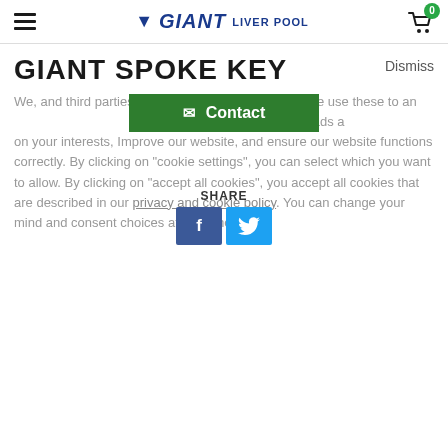GIANT LIVERPOOL — navigation header with hamburger menu and cart
GIANT SPOKE KEY
Dismiss
[Figure (other): Green Contact button with envelope icon and text 'Contact']
SHARE
[Figure (other): Facebook and Twitter share buttons]
We, and third parties, use cookies on our website. We use these to analyse website's use by visitors, personalise ads and on your interests, Improve our website, and ensure our website functions correctly. By clicking on "cookie settings", you can select which you want to allow. By clicking on "accept all cookies", you accept all cookies that are described in our privacy and cookie policy. You can change your mind and consent choices at any time.
Accept all cookies
Refuse all cookies
Cookie settings